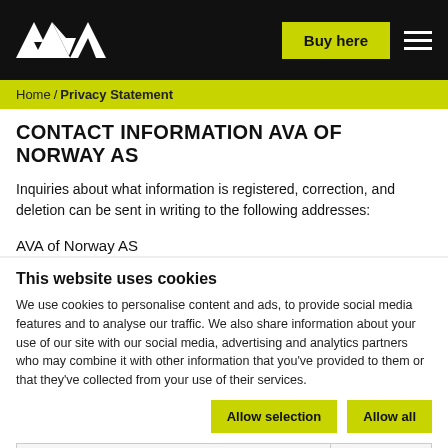AVA [logo] | Buy here | [menu]
Home / Privacy Statement
CONTACT INFORMATION AVA OF NORWAY AS
Inquiries about what information is registered, correction, and deletion can be sent in writing to the following addresses:
AVA of Norway AS
This website uses cookies
We use cookies to personalise content and ads, to provide social media features and to analyse our traffic. We also share information about your use of our site with our social media, advertising and analytics partners who may combine it with other information that you've provided to them or that they've collected from your use of their services.
Allow selection | Allow all
Necessary  Preferences  Statistics  Marketing  Show details